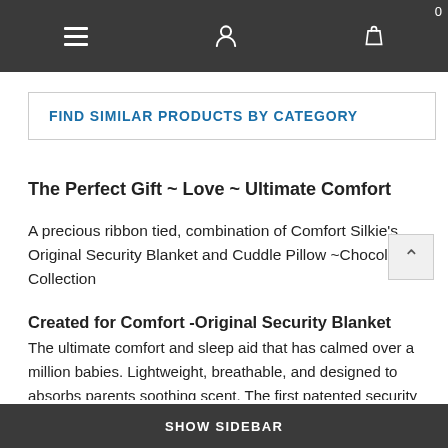Navigation bar with menu, user, and bag icons
FIND SIMILAR PRODUCTS BY CATEGORY
The Perfect Gift ~ Love ~ Ultimate Comfort
A precious ribbon tied, combination of Comfort Silkie's Original Security Blanket and Cuddle Pillow ~Chocolate Collection
Created for Comfort  -Original Security Blanket
The ultimate comfort and sleep aid that has calmed over a million babies. Lightweight, breathable, and designed to absorbs parents soothing scent. The first patented security blanket, researched to evoke a comfort response. Designed with soothing satin that babies love because it reminds them of silkie surroundings within the womb. It is backed with cuddle flannel that feels so soft, like the caress of soft skin. Referred by physicians, sleep specialists, and lactation consultants
SHOW SIDEBAR